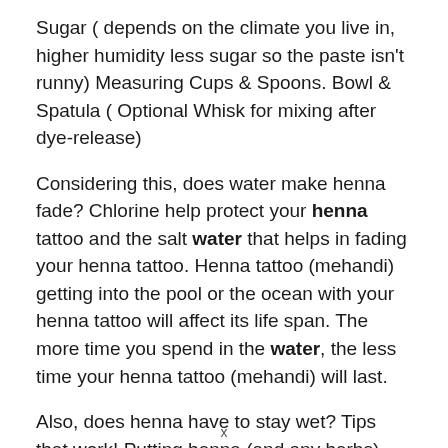Sugar ( depends on the climate you live in, higher humidity less sugar so the paste isn't runny) Measuring Cups & Spoons. Bowl & Spatula ( Optional Whisk for mixing after dye-release)
Considering this, does water make henna fade? Chlorine help protect your henna tattoo and the salt water that helps in fading your henna tattoo. Henna tattoo (mehandi) getting into the pool or the ocean with your henna tattoo will affect its life span. The more time you spend in the water, the less time your henna tattoo (mehandi) will last.
Also, does henna have to stay wet? Tips that work! Putting henna (and any herbs) onto damp hair really helps it go on much easier. Also applying indigo onto damp hair (with a dash or so of salt) has gotten the indigo to absorb better and give...
x